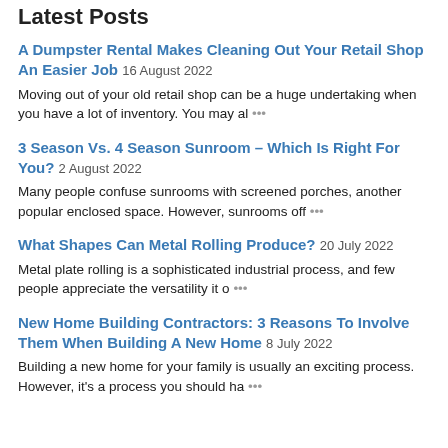Latest Posts
A Dumpster Rental Makes Cleaning Out Your Retail Shop An Easier Job 16 August 2022
Moving out of your old retail shop can be a huge undertaking when you have a lot of inventory. You may al …
3 Season Vs. 4 Season Sunroom – Which Is Right For You? 2 August 2022
Many people confuse sunrooms with screened porches, another popular enclosed space. However, sunrooms off …
What Shapes Can Metal Rolling Produce? 20 July 2022
Metal plate rolling is a sophisticated industrial process, and few people appreciate the versatility it o …
New Home Building Contractors: 3 Reasons To Involve Them When Building A New Home 8 July 2022
Building a new home for your family is usually an exciting process. However, it's a process you should ha …